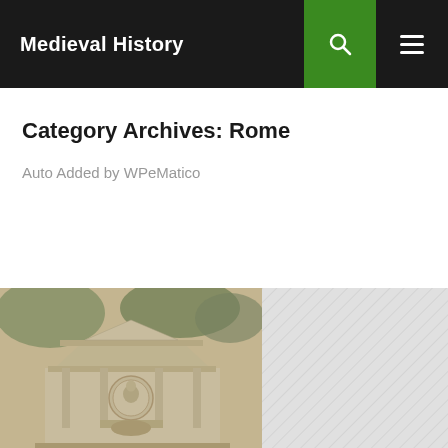Medieval History
Category Archives: Rome
Auto Added by WPeMatico
[Figure (photo): Black and white vintage photograph of a classical stone monument or mausoleum with a triangular pediment, columns, a circular medallion portrait relief, and decorative architectural elements, surrounded by trees]